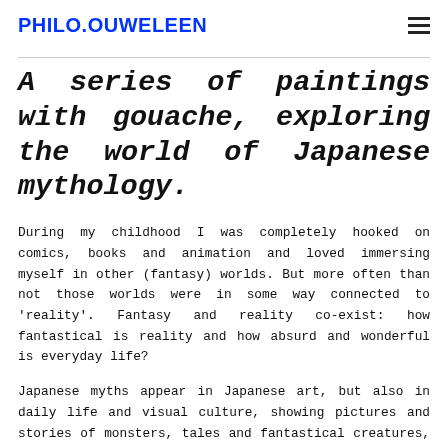PHILO.OUWELEEN
A series of paintings with gouache, exploring the world of Japanese mythology.
During my childhood I was completely hooked on comics, books and animation and loved immersing myself in other (fantasy) worlds. But more often than not those worlds were in some way connected to 'reality'. Fantasy and reality co-exist: how fantastical is reality and how absurd and wonderful is everyday life?
Japanese myths appear in Japanese art, but also in daily life and visual culture, showing pictures and stories of monsters, tales and fantastical creatures, spirits and